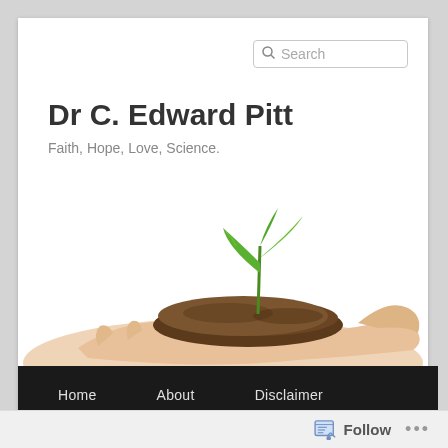Search
Dr C. Edward Pitt
Faith, Hope, Love, Science.
[Figure (photo): A hand holding a small green seedling plant growing from a handful of dark soil, on a white background.]
Home  About  Disclaimer
TAG ARCHIVES: SOCIAL ANXIETY
Follow  ...